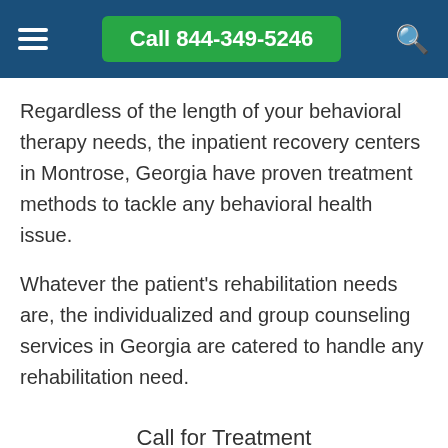Call 844-349-5246
Regardless of the length of your behavioral therapy needs, the inpatient recovery centers in Montrose, Georgia have proven treatment methods to tackle any behavioral health issue.
Whatever the patient's rehabilitation needs are, the individualized and group counseling services in Georgia are catered to handle any rehabilitation need.
Call for Treatment Options and Advice